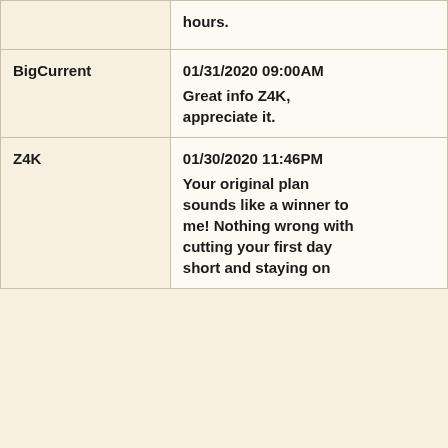| Author | Date / Comment |
| --- | --- |
| BigCurrent | 01/31/2020 09:00AM
Great info Z4K, appreciate it. |
| Z4K | 01/30/2020 11:46PM
Your original plan sounds like a winner to me! Nothing wrong with cutting your first day short and staying on |
Crooked or Mora if you don't make it to Little Sag. I did a 3 night in-Brant a couple years ago in early July. The crossings were difficult, but nothing crazy. pretty high when I
We use cookies to enhance your experience for analytics, and to support 3rd party content and advertising providers. If you continue using this website, you agree to our privacy and legal agreement.